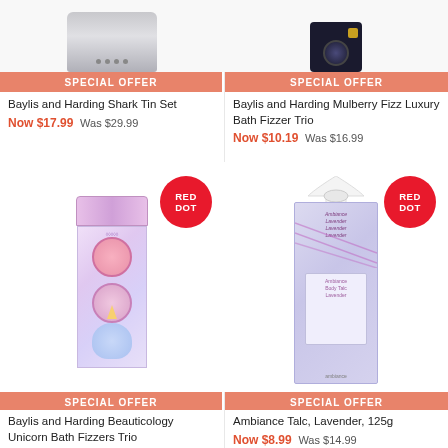[Figure (photo): Partial top view of Baylis and Harding Shark Tin Set product]
[Figure (photo): Partial top view of Baylis and Harding Mulberry Fizz Luxury Bath Fizzer Trio product]
SPECIAL OFFER
Baylis and Harding Shark Tin Set
Now $17.99  Was $29.99
SPECIAL OFFER
Baylis and Harding Mulberry Fizz Luxury Bath Fizzer Trio
Now $10.19  Was $16.99
[Figure (photo): Baylis and Harding Beauticology Unicorn Bath Fizzers Trio product with RED DOT badge]
[Figure (photo): Ambiance Talc Lavender 125g product with RED DOT badge]
SPECIAL OFFER
Baylis and Harding Beauticology Unicorn Bath Fizzers Trio
Now $10.19  Was $16.99
SPECIAL OFFER
Ambiance Talc, Lavender, 125g
Now $8.99  Was $14.99
[Figure (photo): Partial bottom view of another product (teal/blue color) with red dot badge]
[Figure (photo): Partial bottom view of yellow product with red dot badge]